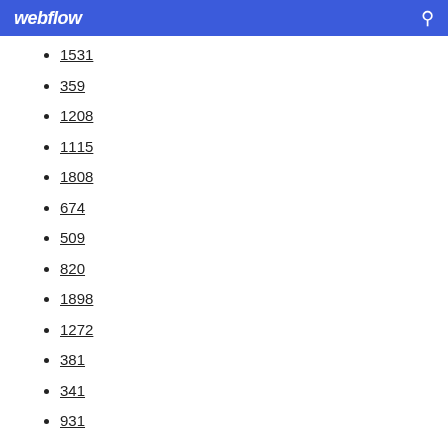webflow
1531
359
1208
1115
1808
674
509
820
1898
1272
381
341
931